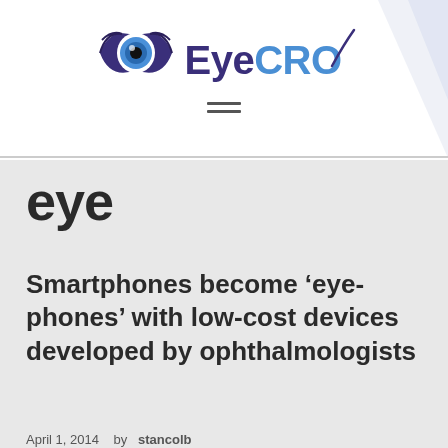EyeCRO
eye
Smartphones become ‘eye-phones’ with low-cost devices developed by ophthalmologists
April 1, 2014 by stancolb